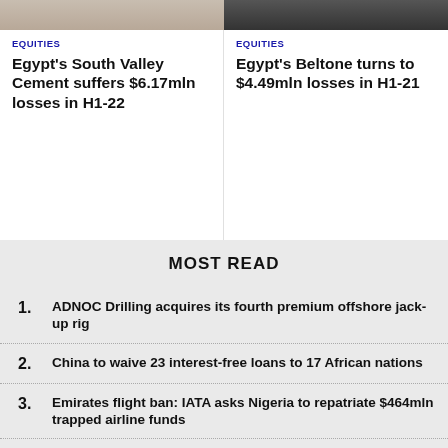[Figure (photo): Top image left - partial photo of sandy/rocky terrain]
[Figure (photo): Top image right - partial photo dark background with text]
EQUITIES
Egypt's South Valley Cement suffers $6.17mln losses in H1-22
EQUITIES
Egypt's Beltone turns to $4.49mln losses in H1-21
MOST READ
ADNOC Drilling acquires its fourth premium offshore jack-up rig
China to waive 23 interest-free loans to 17 African nations
Emirates flight ban: IATA asks Nigeria to repatriate $464mln trapped airline funds